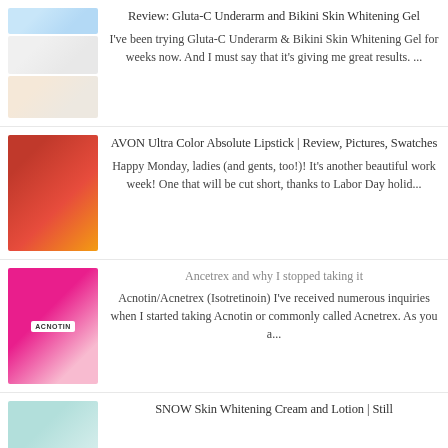[Figure (photo): Product image of Gluta-C Underarm and Bikini Skin Whitening Gel]
Review: Gluta-C Underarm and Bikini Skin Whitening Gel
I've been trying Gluta-C Underarm & Bikini Skin Whitening Gel for weeks now. And I must say that it's giving me great results. ...
[Figure (photo): Photo of AVON Ultra Color Absolute Lipsticks in various shades]
AVON Ultra Color Absolute Lipstick | Review, Pictures, Swatches
Happy Monday, ladies (and gents, too!)! It's another beautiful work week! One that will be cut short, thanks to Labor Day holid...
[Figure (photo): Photo of Acnotin/Acnetrex medication box]
Ancetrex and why I stopped taking it
Acnotin/Acnetrex (Isotretinoin) I've received numerous inquiries when I started taking Acnotin or commonly called Acnetrex. As you a...
[Figure (photo): Photo of SNOW Skin Whitening Cream and Lotion product]
SNOW Skin Whitening Cream and Lotion | Still